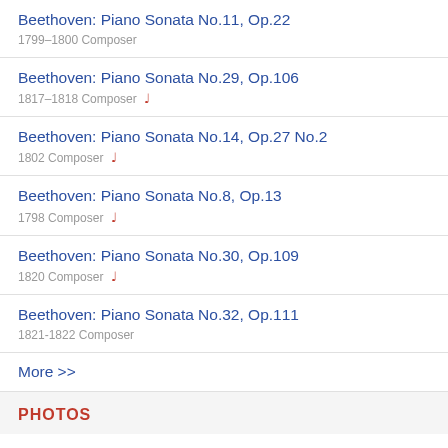Beethoven: Piano Sonata No.11, Op.22
1799–1800 Composer
Beethoven: Piano Sonata No.29, Op.106
1817–1818 Composer ♩
Beethoven: Piano Sonata No.14, Op.27 No.2
1802 Composer ♩
Beethoven: Piano Sonata No.8, Op.13
1798 Composer ♩
Beethoven: Piano Sonata No.30, Op.109
1820 Composer ♩
Beethoven: Piano Sonata No.32, Op.111
1821-1822 Composer
More >>
PHOTOS